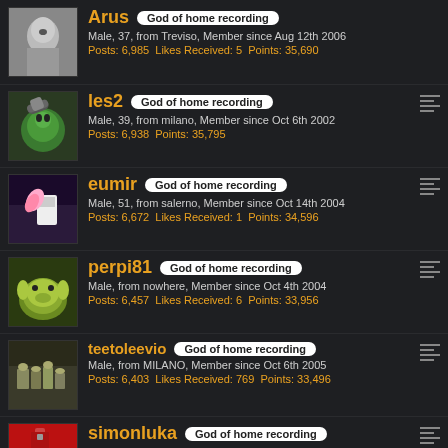Arus | God of home recording | Male, 37, from Treviso, Member since Aug 12th 2006 | Posts: 6,985 Likes Received: 5 Points: 35,690
les2 | God of home recording | Male, 39, from milano, Member since Oct 6th 2002 | Posts: 6,938 Points: 35,795
eumir | God of home recording | Male, 51, from salerno, Member since Oct 14th 2004 | Posts: 6,672 Likes Received: 1 Points: 34,596
perpi81 | God of home recording | Male, from nowhere, Member since Oct 4th 2004 | Posts: 6,457 Likes Received: 6 Points: 33,956
teetoleevio | God of home recording | Male, from MILANO, Member since Oct 6th 2005 | Posts: 6,403 Likes Received: 769 Points: 33,496
simonluka | God of home recording | Male, 50, from Vicenza/Roma, Member since May 17th 2004 | Posts: 6,179 Likes Received: 167 Points: 33,957